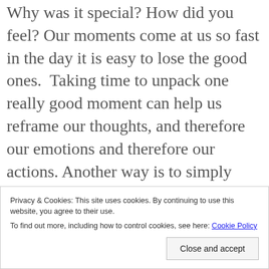Why was it special? How did you feel? Our moments come at us so fast in the day it is easy to lose the good ones.  Taking time to unpack one really good moment can help us reframe our thoughts, and therefore our emotions and therefore our actions. Another way is to simply write three sentences every night answering these three questions: What moved me? What surprised me? What inspired me?  Full disclosure, I haven't done either of these things yet, but I am going to try them.
Privacy & Cookies: This site uses cookies. By continuing to use this website, you agree to their use.
To find out more, including how to control cookies, see here: Cookie Policy